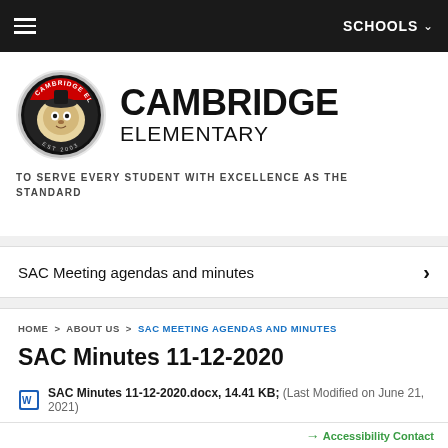SCHOOLS
[Figure (logo): Cambridge Elementary School circular mascot logo with a panther wearing a hat, red and black coloring, silver border]
CAMBRIDGE ELEMENTARY
TO SERVE EVERY STUDENT WITH EXCELLENCE AS THE STANDARD
SAC Meeting agendas and minutes
HOME > ABOUT US > SAC MEETING AGENDAS AND MINUTES
SAC Minutes 11-12-2020
SAC Minutes 11-12-2020.docx, 14.41 KB; (Last Modified on June 21, 2021)
Accessibility Contact